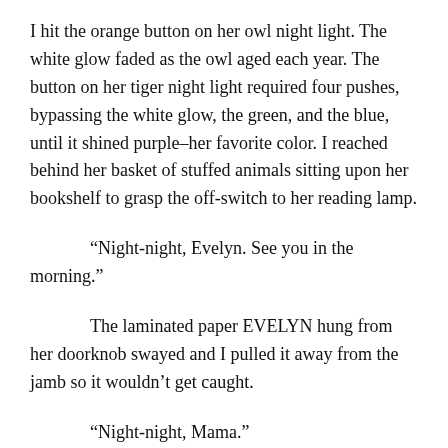I hit the orange button on her owl night light. The white glow faded as the owl aged each year. The button on her tiger night light required four pushes, bypassing the white glow, the green, and the blue, until it shined purple–her favorite color. I reached behind her basket of stuffed animals sitting upon her bookshelf to grasp the off-switch to her reading lamp.
“Night-night, Evelyn. See you in the morning.”
The laminated paper EVELYN hung from her doorknob swayed and I pulled it away from the jamb so it wouldn’t get caught.
“Night-night, Mama.”
I shut the door and walked away. Away from the